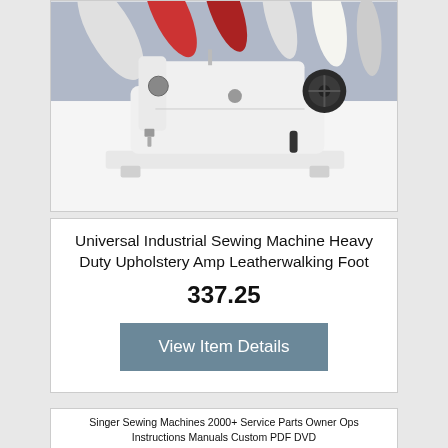[Figure (photo): White industrial sewing machine (heavy duty) photographed against a background of colorful fabric rolls, shown on a flat base with mechanical components visible.]
Universal Industrial Sewing Machine Heavy Duty Upholstery Amp Leatherwalking Foot
337.25
View Item Details
Singer Sewing Machines 2000+ Service Parts Owner Ops Instructions Manuals Custom PDF DVD